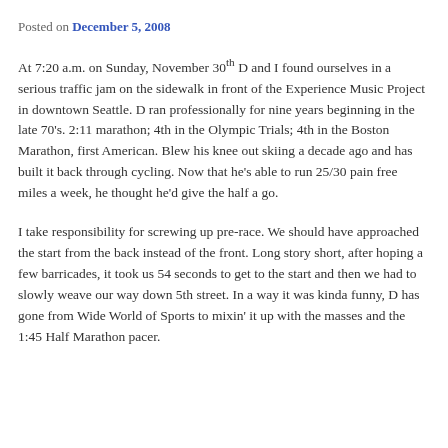Posted on December 5, 2008
At 7:20 a.m. on Sunday, November 30th D and I found ourselves in a serious traffic jam on the sidewalk in front of the Experience Music Project in downtown Seattle. D ran professionally for nine years beginning in the late 70's. 2:11 marathon; 4th in the Olympic Trials; 4th in the Boston Marathon, first American. Blew his knee out skiing a decade ago and has built it back through cycling. Now that he's able to run 25/30 pain free miles a week, he thought he'd give the half a go.
I take responsibility for screwing up pre-race. We should have approached the start from the back instead of the front. Long story short, after hoping a few barricades, it took us 54 seconds to get to the start and then we had to slowly weave our way down 5th street. In a way it was kinda funny, D has gone from Wide World of Sports to mixin' it up with the masses and the 1:45 Half Marathon pacer.